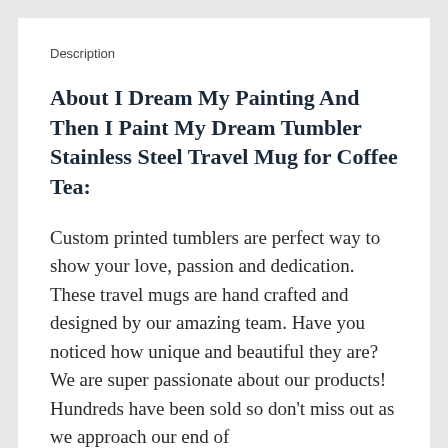Description
About I Dream My Painting And Then I Paint My Dream Tumbler Stainless Steel Travel Mug for Coffee Tea:
Custom printed tumblers are perfect way to show your love, passion and dedication. These travel mugs are hand crafted and designed by our amazing team. Have you noticed how unique and beautiful they are? We are super passionate about our products! Hundreds have been sold so don't miss out as we approach our end of